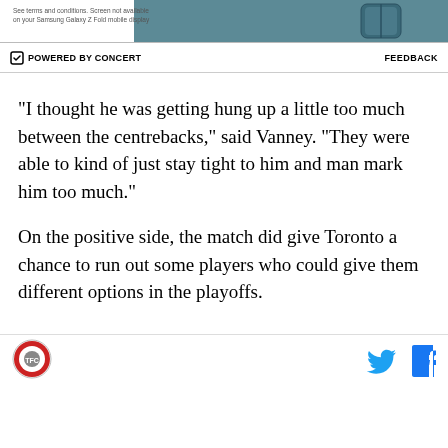[Figure (screenshot): Advertisement banner showing a Samsung Galaxy Z Fold mobile display with teal/blue color, partially visible. Small text reads 'See terms and conditions. Screen not available on your Samsung Galaxy Z Fold mobile display']
POWERED BY CONCERT   FEEDBACK
"I thought he was getting hung up a little too much between the centrebacks," said Vanney. "They were able to kind of just stay tight to him and man mark him too much."
On the positive side, the match did give Toronto a chance to run out some players who could give them different options in the playoffs.
[Figure (logo): Circular logo with red and grey colors, appears to be a sports team emblem]
[Figure (illustration): Twitter bird icon in cyan/blue color and Facebook 'f' icon in blue color]